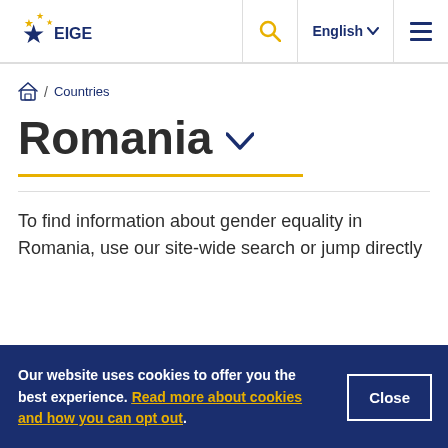EIGE | English | search | menu
/ Countries
Romania
To find information about gender equality in Romania, use our site-wide search or jump directly
Our website uses cookies to offer you the best experience. Read more about cookies and how you can opt out.